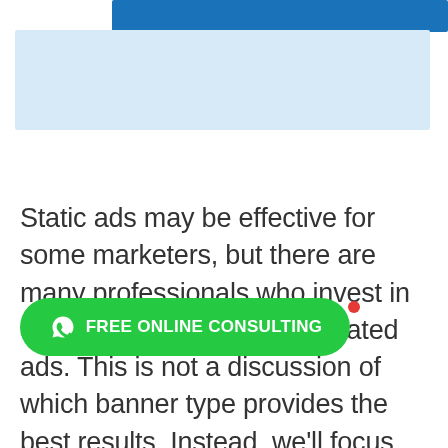[Figure (illustration): Decorative header area with a dark blue horizontal bar at top and a large light blue rectangle below it, suggesting a banner or screenshot placeholder.]
Static ads may be effective for some marketers, but there are many professionals who invest in designing and running animated ads. This is not a discussion of which banner type provides the best results. Instead, we'll focus on statistics s options by animated banner type.
[Figure (infographic): Green rounded pill-shaped button with WhatsApp logo icon and bold white text 'FREE ONLINE CONSULTING'. A small red dot appears at the upper-right edge of the button.]